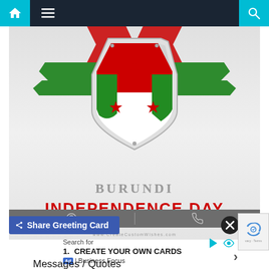[Figure (screenshot): Mobile app navigation bar with home icon (cyan background), hamburger menu, and search icon (cyan background) on dark background]
[Figure (illustration): Burundi Independence Day greeting card showing a shield with Burundi flag colors (red, white, green) with three red stars, flanked by green ribbon elements on a gray gradient background. Text reads 'BURUNDI' in gray serif and 'INDEPENDENCE DAY' in bold red. Website watermark: www.CreateCustomWishes.com]
Share Greeting Card
Search for
1. CREATE YOUR OWN CARDS
Ad | Business Focus
Messages / Quotes